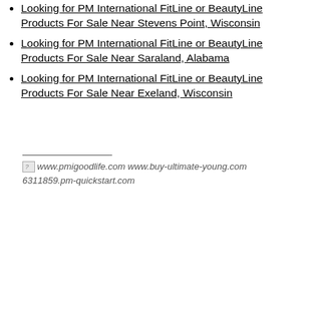Looking for PM International FitLine or BeautyLine Products For Sale Near Stevens Point, Wisconsin
Looking for PM International FitLine or BeautyLine Products For Sale Near Saraland, Alabama
Looking for PM International FitLine or BeautyLine Products For Sale Near Exeland, Wisconsin
www.pmigoodlife.com www.buy-ultimate-young.com 6311859.pm-quickstart.com